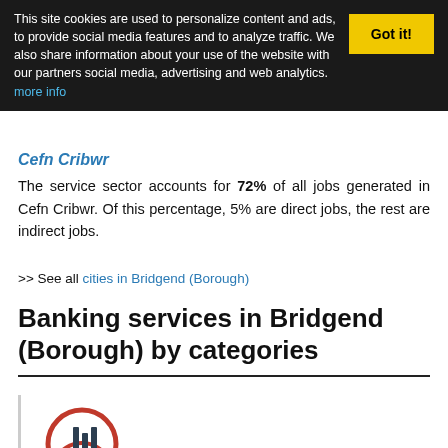This site cookies are used to personalize content and ads, to provide social media features and to analyze traffic. We also share information about your use of the website with our partners social media, advertising and web analytics. more info
Got it!
Cefn Cribwr
The service sector accounts for 72% of all jobs generated in Cefn Cribwr. Of this percentage, 5% are direct jobs, the rest are indirect jobs.
>> See all cities in Bridgend (Borough)
Banking services in Bridgend (Borough) by categories
[Figure (logo): Mortgages logo — a circular red arc with dark vertical bar shapes inside, resembling a stylized building or financial icon]
Mortgages